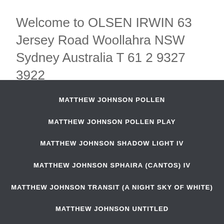Welcome to OLSEN IRWIN 63 Jersey Road Woollahra NSW Sydney Australia T 61 2 9327 3922
MATTHEW JOHNSON POLLEN
MATTHEW JOHNSON POLLEN PLAY
MATTHEW JOHNSON SHADOW LIGHT IV
MATTHEW JOHNSON SPHAIRA (CANTOS) IV
MATTHEW JOHNSON TRANSIT (A NIGHT SKY OF WHITE)
MATTHEW JOHNSON UNTITLED